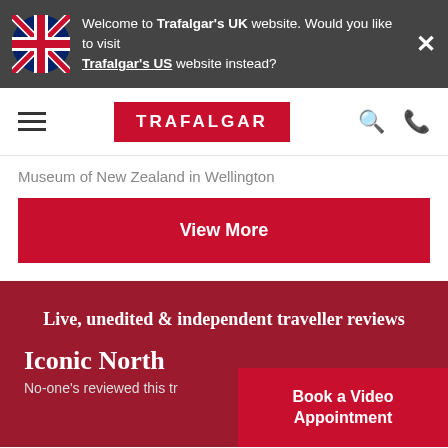Welcome to Trafalgar's UK website. Would you like to visit Trafalgar's US website instead?
[Figure (screenshot): Trafalgar travel website navigation bar with hamburger menu, TRAFALGAR logo in red, search and phone icons]
Museum of New Zealand in Wellington
View More
Live, unedited & independent traveller reviews
Iconic North
No-one's reviewed this tr
Book a Video Appointment